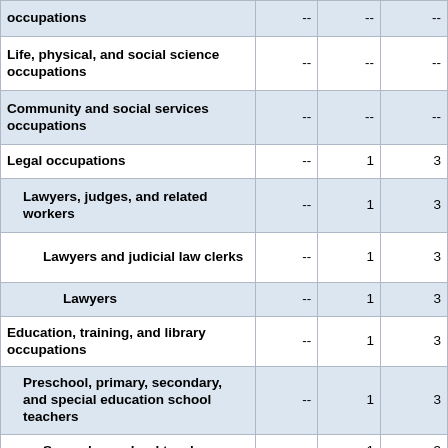| Occupation | Col1 | Col2 | Col3 |
| --- | --- | --- | --- |
| occupations | -- | -- | -- |
| Life, physical, and social science occupations | -- | -- | -- |
| Community and social services occupations | -- | -- | -- |
| Legal occupations | -- | 1 | 3 |
| Lawyers, judges, and related workers | -- | 1 | 3 |
| Lawyers and judicial law clerks | -- | 1 | 3 |
| Lawyers | -- | 1 | 3 |
| Education, training, and library occupations | -- | 1 | 3 |
| Preschool, primary, secondary, and special education school teachers | -- | 1 | 3 |
| Secondary school teachers | -- | 1 | 3 |
| Secondary school teachers, except special and career/technical | -- | 1 | 3 |